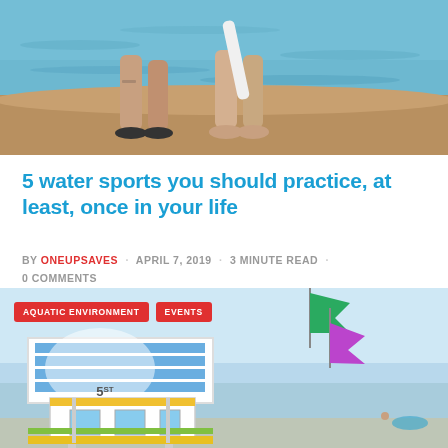[Figure (photo): Two people standing near ocean water holding surfboards, viewed from the waist down, showing legs and feet on rocky shore with blue water behind]
5 water sports you should practice, at least, once in your life
by ONEUPSAVES · APRIL 7, 2019 · 3 MINUTE READ · 0 COMMENTS
[Figure (photo): Colorful beach lifeguard tower numbered 5ST with blue and white striped heart design, colorful flags (green and purple) flying overhead, blue ocean and sky in background. Tags: AQUATIC ENVIRONMENT, EVENTS]